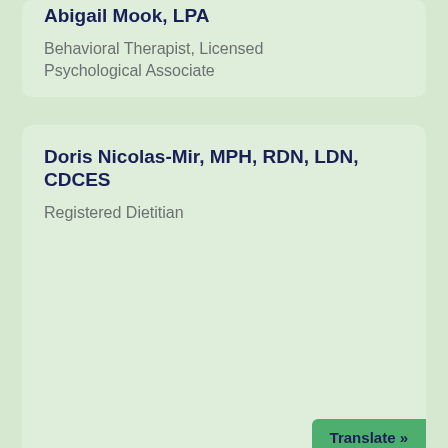Abigail Mook, LPA
Behavioral Therapist, Licensed Psychological Associate
Doris Nicolas-Mir, MPH, RDN, LDN, CDCES
Registered Dietitian